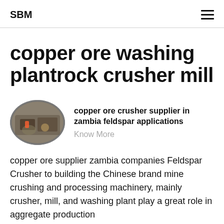SBM
copper ore washing plantrock crusher mill
[Figure (photo): Oval-shaped thumbnail photo of industrial mining/crushing equipment or worker in a plant setting]
copper ore crusher supplier in zambia feldspar applications
Know More
copper ore supplier zambia companies Feldspar Crusher to building the Chinese brand mine crushing and processing machinery, mainly crusher, mill, and washing plant play a great role in aggregate production